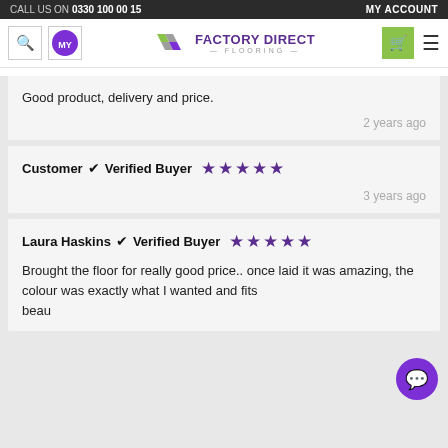CALL US ON 0330 100 00 15   MY ACCOUNT
[Figure (logo): Factory Direct Flooring logo with coloured diamond tiles and purple text]
Good product, delivery and price.
2 years ago
Customer ✔ Verified Buyer ★★★★★
3 years ago
Laura Haskins ✔ Verified Buyer ★★★★★
Brought the floor for really good price.. once laid it was amazing, the colour was exactly what I wanted and fits beautifully. I now for next room would like...
Order a sample.   Order Free Sample